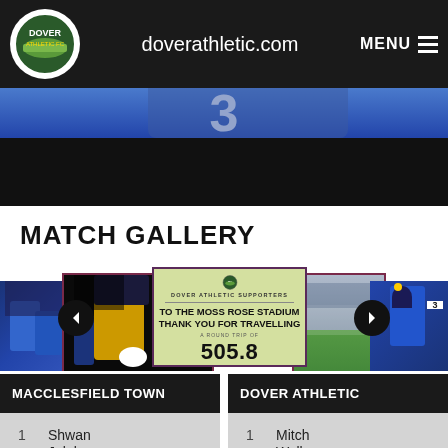doverathletic.com
[Figure (photo): Hero image of a football match with player number visible, partially cropped]
MATCH GALLERY
[Figure (photo): Match gallery carousel showing: left-far image of blue football kits, left-center image of player in yellow/amber kit dribbling, center image is a sign reading 'DOVER ATHLETIC SUPPORTERS / TO THE MOSS ROSE STADIUM / THANK YOU FOR TRAVELLING / A ROUND TRIP OF 505.8', right images show stadium and player in blue kit with number 3]
|  | MACCLESFIELD TOWN |  | DOVER ATHLETIC |
| --- | --- | --- | --- |
| 1 | Shwan
Jalal | 1 | Mitch
Walker |